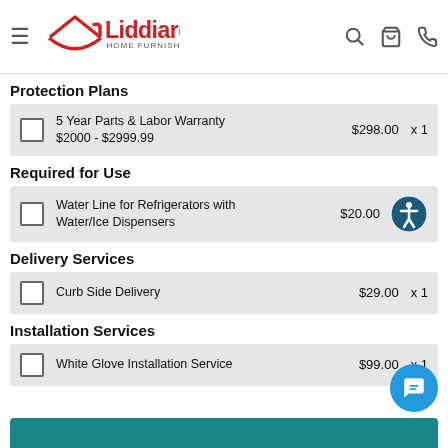Liddiard Home Furnishings
Protection Plans
5 Year Parts & Labor Warranty $2000 - $2999.99  $298.00  x 1
Required for Use
Water Line for Refrigerators with Water/Ice Dispensers  $20.00
Delivery Services
Curb Side Delivery  $29.00  x 1
Installation Services
White Glove Installation Service  $99.00  x 1